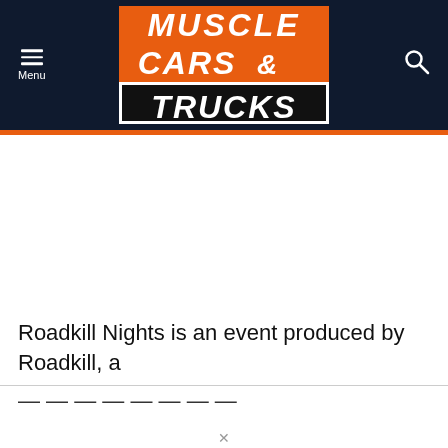[Figure (logo): Muscle Cars & Trucks logo on dark navy header background with orange and black styling, hamburger menu icon on left, search icon on right]
Roadkill Nights is an event produced by Roadkill, a
show on Motor Trend. [partially visible/cut off]